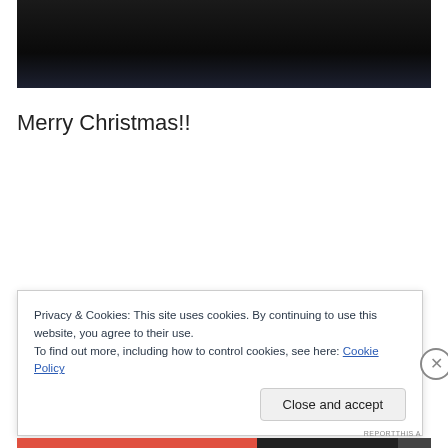[Figure (photo): Dark image, nearly black, appears to be a dark surface or background photo at the top of the page.]
Merry Christmas!!
Privacy & Cookies: This site uses cookies. By continuing to use this website, you agree to their use.
To find out more, including how to control cookies, see here: Cookie Policy
Close and accept